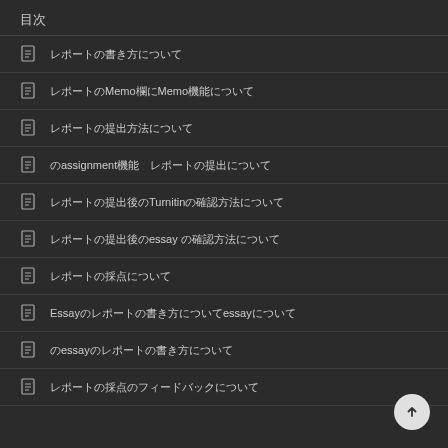目次
レポートの書き方について
レポートのMemo欄にMemo機能について
レポートの提出方法について
のassignment機能　レポートの提出について
レポートの提出後のTurnitinの確認方法について
レポートの提出後のessay の確認方法について
レポートの採点について
Essayのレポートの書き方についてessayについて
のessayのレポートの書き方について
レポートの採点のフィードバックについて